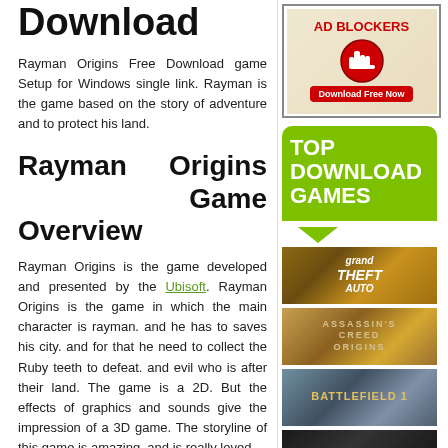Download
Rayman Origins Free Download game Setup for Windows single link. Rayman is the game based on the story of adventure and to protect his land.
Rayman Origins Game Overview
Rayman Origins is the game developed and presented by the Ubisoft. Rayman Origins is the game in which the main character is rayman. and he has to saves his city. and for that he need to collect the Ruby teeth to defeat. and evil who is after their land. The game is a 2D. But the effects of graphics and sounds give the impression of a 3D game. The storyline of this game is amazing. and is really loved
[Figure (other): AD BLOCKERS advertisement banner with stop hand icon and Download Free Now button]
[Figure (other): TOP DOWNLOAD GAMES green button/banner]
[Figure (other): Grand Theft Auto game thumbnail]
[Figure (other): Assassin's Creed Origins game thumbnail]
[Figure (other): Battlefield 1 game thumbnail]
[Figure (other): Call of Duty WWII game thumbnail with Go to Top button]